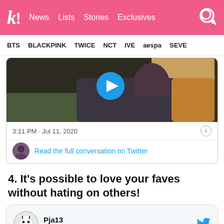K! News Lists Stories Exclusives
BTS BLACKPINK TWICE NCT IVE aespa SEVE
[Figure (screenshot): Embedded tweet with video thumbnail showing a person on a chair, with a blue play button overlay. Timestamp: 3:11 PM · Jul 11, 2020. Link: Read the full conversation on Twitter]
4. It's possible to love your faves without hating on others!
[Figure (screenshot): Twitter card embed showing user Pja13 (@_Pja13_) with Follow link and Twitter bird icon, beginning of tweet text visible]